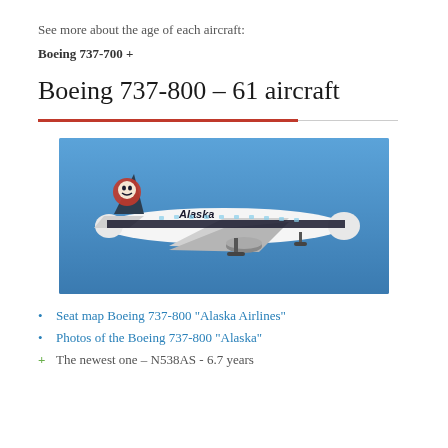See more about the age of each aircraft:
Boeing 737-700 +
Boeing 737-800 – 61 aircraft
[Figure (photo): Alaska Airlines Boeing 737-800 aircraft in flight against a blue sky, showing the distinctive Alaska Airlines livery with the Eskimo/Native logo on the tail.]
Seat map Boeing 737-800 “Alaska Airlines”
Photos of the Boeing 737-800 “Alaska”
The newest one – N538AS - 6.7 years